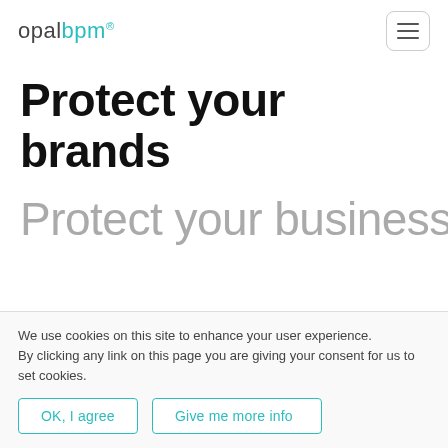opalbpm® [hamburger menu]
Protect your brands
Protect your business
We use cookies on this site to enhance your user experience. By clicking any link on this page you are giving your consent for us to set cookies.
OK, I agree   Give me more info